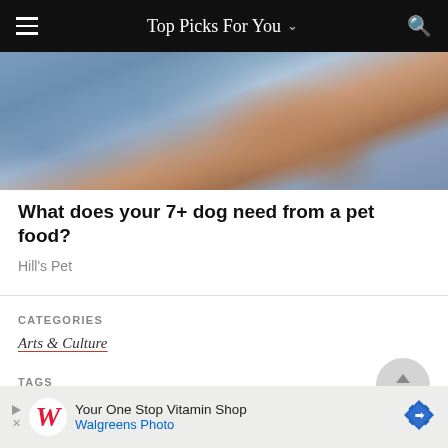Top Picks For You
[Figure (photo): Close-up photo of a hand resting on blue denim fabric, likely someone petting a dog]
What does your 7+ dog need from a pet food?
Hill's Pet
CATEGORIES
Arts & Culture
TAGS
[Figure (other): Circular back-to-top button with upward arrow and text TOP]
[Figure (other): Advertisement banner: Your One Stop Vitamin Shop - Walgreens Photo]